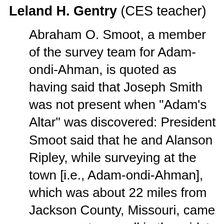Leland H. Gentry (CES teacher)
Abraham O. Smoot, a member of the survey team for Adam-ondi-Ahman, is quoted as having said that Joseph Smith was not present when "Adam's Altar" was discovered: President Smoot said that he and Alanson Ripley, while surveying at the town [i.e., Adam-ondi-Ahman], which was about 22 miles from Jackson County, Missouri, came across a stone wall in the midst of a dense forest of underbrush. The wall was 30 feet long, 3 feet thick, and 4 feet high. It was laid in mortar or cement. When Joseph visited the place and examined the wall he said it was the